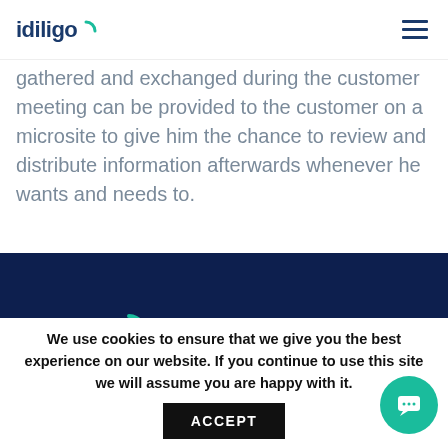idiligo
gathered and exchanged during the customer meeting can be provided to the customer on a microsite to give him the chance to review and distribute information afterwards whenever he wants and needs to.
[Figure (logo): idiligo logo white on dark navy background in footer]
We use cookies to ensure that we give you the best experience on our website. If you continue to use this site we will assume you are happy with it.
ACCEPT